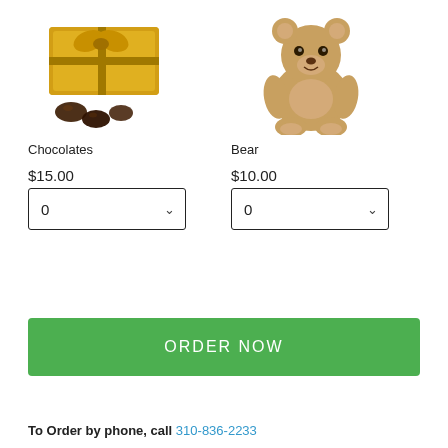[Figure (photo): Gold box of chocolates with golden bow ribbon and chocolate truffles in front]
[Figure (photo): Brown plush teddy bear sitting upright]
Chocolates
Bear
$15.00
$10.00
ORDER NOW
To Order by phone, call 310-836-2233